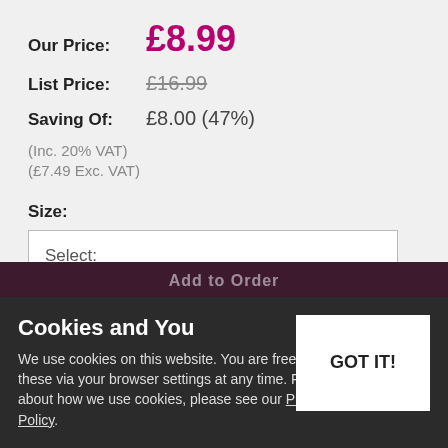Our Price: £8.99
List Price: £16.99
Saving Of: £8.00 (47%)
(Inc. 20% VAT)
(£7.49 Exc. VAT)
Size:
Select:
Colour:
Select:
Cookies and You
We use cookies on this website. You are free to manage these via your browser settings at any time. For more about how we use cookies, please see our Privacy Policy.
GOT IT!